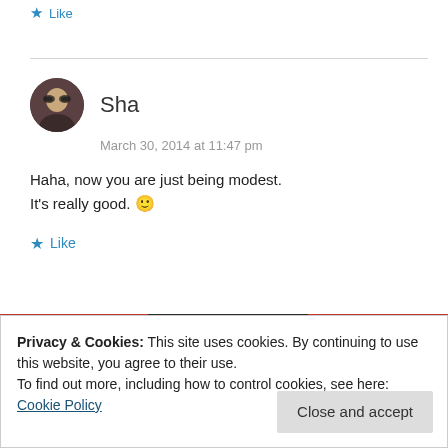★ Like
Sha
March 30, 2014 at 11:47 pm
Haha, now you are just being modest. It's really good. 🙂
★ Like
Privacy & Cookies: This site uses cookies. By continuing to use this website, you agree to their use.
To find out more, including how to control cookies, see here:
Cookie Policy
Close and accept